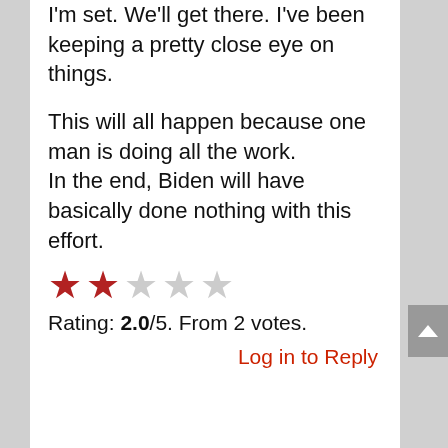I'm set. We'll get there. I've been keeping a pretty close eye on things.
This will all happen because one man is doing all the work.
In the end, Biden will have basically done nothing with this effort.
[Figure (other): Star rating widget: 2 filled red stars and 3 empty grey stars out of 5]
Rating: 2.0/5. From 2 votes.
Log in to Reply